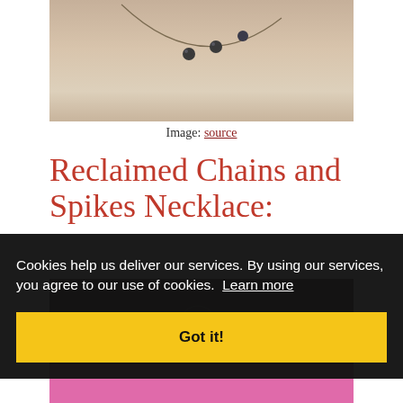[Figure (photo): Photo of a necklace on a mannequin/person wearing a light beige top, showing a delicate chain necklace with dark beads/spikes.]
Image: source
Reclaimed Chains and Spikes Necklace:
[Figure (photo): Photo partially visible at bottom showing jewelry on dark background with pink fabric visible.]
Cookies help us deliver our services. By using our services, you agree to our use of cookies.  Learn more
Got it!